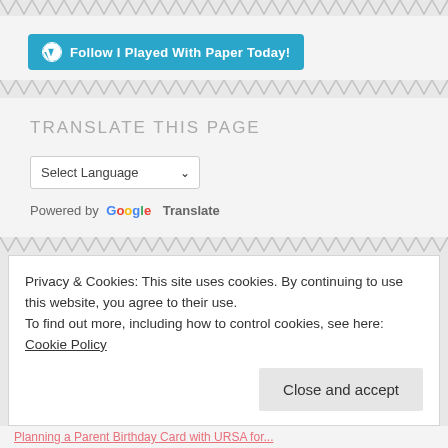[Figure (other): WordPress Follow button: 'Follow I Played With Paper Today!' in teal/blue with WordPress logo]
TRANSLATE THIS PAGE
[Figure (screenshot): Select Language dropdown and Powered by Google Translate widget]
Privacy & Cookies: This site uses cookies. By continuing to use this website, you agree to their use.
To find out more, including how to control cookies, see here: Cookie Policy
Close and accept